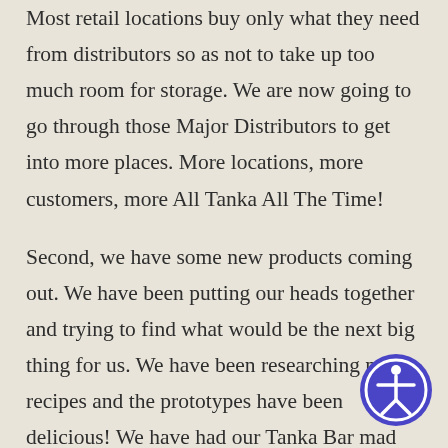Most retail locations buy only what they need from distributors so as not to take up too much room for storage. We are now going to go through those Major Distributors to get into more places. More locations, more customers, more All Tanka All The Time!

Second, we have some new products coming out. We have been putting our heads together and trying to find what would be the next big thing for us. We have been researching new recipes and the prototypes have been delicious! We have had our Tanka Bar mad scientists,
[Figure (illustration): Accessibility icon: a blue/purple circle with a white circle outline and a white stick figure person with arms outstretched, representing accessibility features]